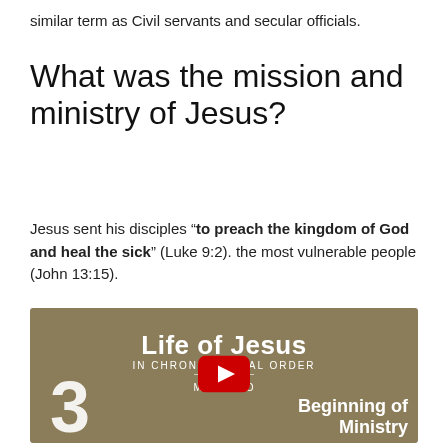similar term as Civil servants and secular officials.
What was the mission and ministry of Jesus?
Jesus sent his disciples “to preach the kingdom of God and heal the sick” (Luke 9:2). the most vulnerable people (John 13:15).
[Figure (screenshot): YouTube video thumbnail showing 'Life of Jesus IN CHRONOLOGICAL ORDER' with a YouTube play button, number 3, and text 'Beginning of Ministry' on a brown/tan background.]